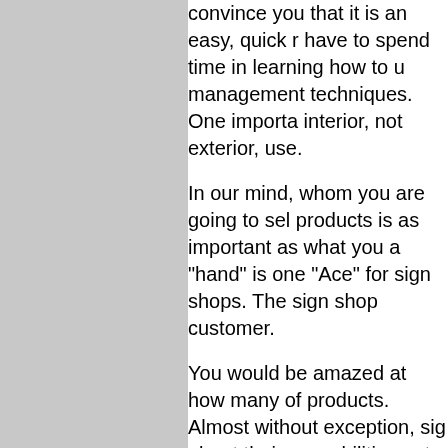convince you that it is an easy, quick r have to spend time in learning how to u management techniques. One importa interior, not exterior, use.
In our mind, whom you are going to sel products is as important as what you a "hand" is one "Ace" for sign shops. The sign shop customer.
You would be amazed at how many of products. Almost without exception, sig about their new abilities got a much fas
One suggestion: If you do a mail-out, d printer and add color to the announcem
Like everything else that you could add important as what it will do: for you. Thi relative to your competition. There is n benefit the typical sign company.
There is only one way to learn what is b information about inkjet dye sublimatio the right direction.
When it is so direct, so fast, so all